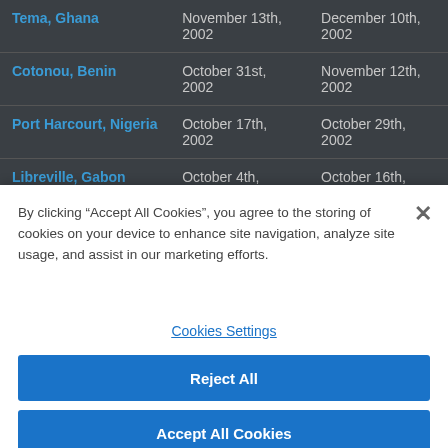| Location | Arrival | Departure |
| --- | --- | --- |
| Tema, Ghana | November 13th, 2002 | December 10th, 2002 |
| Cotonou, Benin | October 31st, 2002 | November 12th, 2002 |
| Port Harcourt, Nigeria | October 17th, 2002 | October 29th, 2002 |
| Libreville, Gabon | October 4th, 2002 | October 16th, 2002 |
By clicking “Accept All Cookies”, you agree to the storing of cookies on your device to enhance site navigation, analyze site usage, and assist in our marketing efforts.
Cookies Settings
Reject All
Accept All Cookies